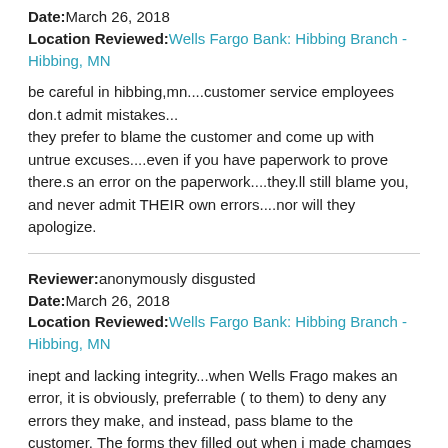Date: March 26, 2018
Location Reviewed: Wells Fargo Bank: Hibbing Branch - Hibbing, MN
be careful in hibbing,mn....customer service employees don.t admit mistakes...
they prefer to blame the customer and come up with untrue excuses....even if you have paperwork to prove there.s an error on the paperwork....they.ll still blame you, and never admit THEIR own errors....nor will they apologize.
Reviewer: anonymously disgusted
Date: March 26, 2018
Location Reviewed: Wells Fargo Bank: Hibbing Branch - Hibbing, MN
inept and lacking integrity...when Wells Frago makes an error, it is obviously, preferrable ( to them) to deny any errors they make, and instead, pass blame to the customer. The forms they filled out when i made chamges to my acct. were a rssult of THEIr error.....( it.s